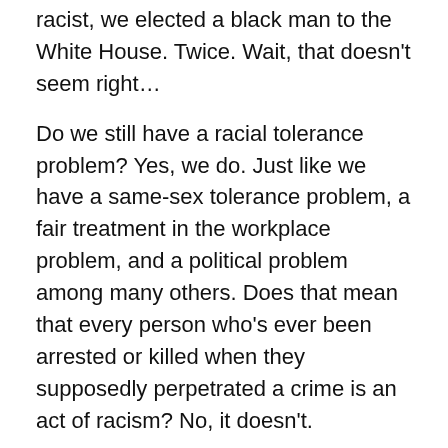racist, we elected a black man to the White House. Twice. Wait, that doesn't seem right…
Do we still have a racial tolerance problem? Yes, we do. Just like we have a same-sex tolerance problem, a fair treatment in the workplace problem, and a political problem among many others. Does that mean that every person who's ever been arrested or killed when they supposedly perpetrated a crime is an act of racism? No, it doesn't.
“I don’t want tears or disgust from White people.”
Congratulations, you just alienated and contradicted every person (White, Black, Purple, Neon Green, ect) who ever believed in the notion that we should try and deconstruct racism by removing titles like “African American,” or “Black American,” “Asian American,” ect. Instead, you respond to